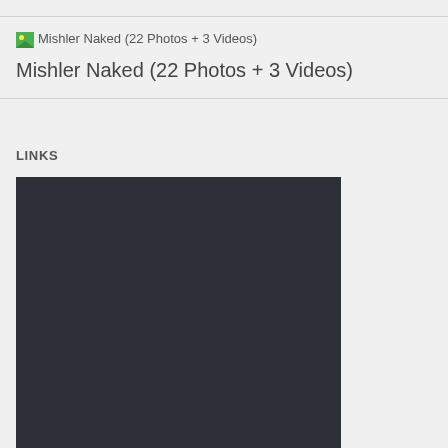Mishler Naked (22 Photos + 3 Videos)
Mishler Naked (22 Photos + 3 Videos)
LINKS
[Figure (screenshot): Dark gray/charcoal colored rectangular block representing a screenshot or image placeholder]